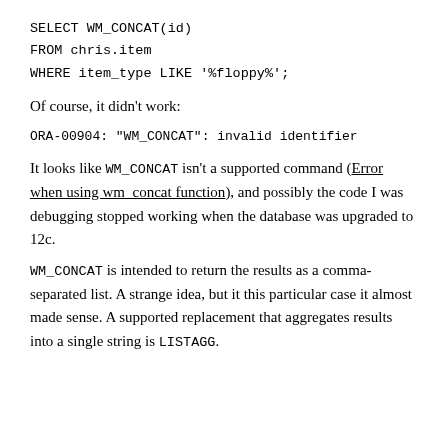SELECT WM_CONCAT(id)
FROM chris.item
WHERE item_type LIKE '%floppy%';
Of course, it didn't work:
ORA-00904: "WM_CONCAT": invalid identifier
It looks like WM_CONCAT isn't a supported command (Error when using wm_concat function), and possibly the code I was debugging stopped working when the database was upgraded to 12c.
WM_CONCAT is intended to return the results as a comma-separated list. A strange idea, but it this particular case it almost made sense. A supported replacement that aggregates results into a single string is LISTAGG.